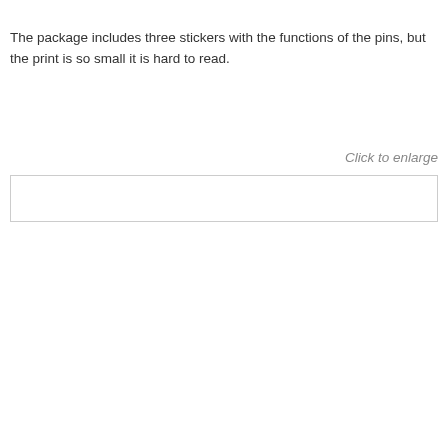The package includes three stickers with the functions of the pins, but the print is so small it is hard to read.
Click to enlarge
[Figure (photo): A partially visible image box with a light border, largely blank/white, representing a photo that can be clicked to enlarge.]